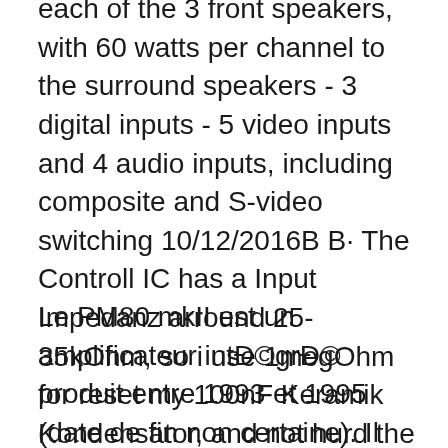each of the 3 front speakers, with 60 watts per channel to the surround speakers - 3 digital inputs - 5 video inputs and 4 audio inputs, including composite and S-video switching 10/12/2016B B· The Controll IC has a Input Impedanz arround 25-35kOhm, so i use 1megOhm for reset my 100nF Keramik Kondensator, and not hurd the Input anymore in normal mode. The Marantz вЂ¦
Le PM80 mkII est un amplificateur intÐ©grÐ© produit entre 1993 et 1995 (date de fin non certaine). Il s'agit d'une version nouvelle et trÐËs diffÐ©rente du PM80 standard. Il est capable de travailler avec des AR...